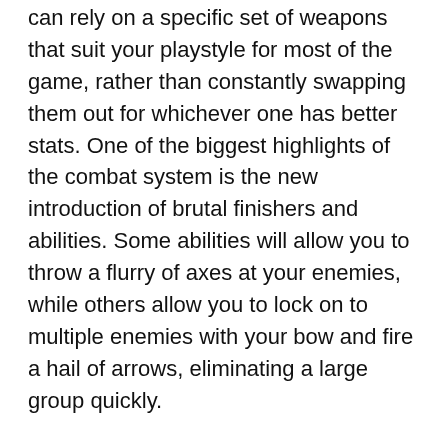can rely on a specific set of weapons that suit your playstyle for most of the game, rather than constantly swapping them out for whichever one has better stats. One of the biggest highlights of the combat system is the new introduction of brutal finishers and abilities. Some abilities will allow you to throw a flurry of axes at your enemies, while others allow you to lock on to multiple enemies with your bow and fire a hail of arrows, eliminating a large group quickly.
It takes a while for the game to really kick it into high gear with its main storyline, and I've heard of plenty of goofy bugs that can either break the game or ruin the immersion. Nonetheless, "Assassin's Creed: Valhalla" is a massive open-world RPG experience. Players will have more freedom than ever before, and they'll easily get lost in the beautiful world for hours on end while engaging in some of the most refreshing combat the series has seen.